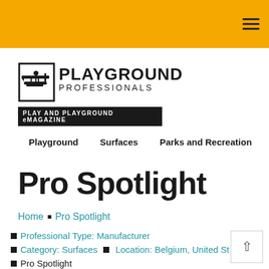[Figure (logo): Playground Professionals logo with biplane icon, 'PLAYGROUND PROFESSIONALS' text and 'PLAY AND PLAYGROUND eMAGAZINE' tagline on black background]
Playground  Surfaces  Parks and Recreation  A
Pro Spotlight
Home • Pro Spotlight
Professional Type: Manufacturer
Category: Surfaces  •  Location: Belgium, United St...
Pro Spotlight